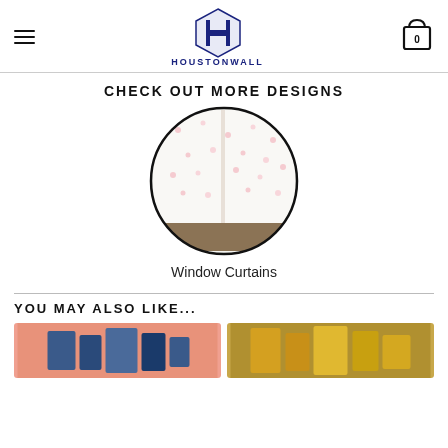HOUSTONWALL
CHECK OUT MORE DESIGNS
[Figure (photo): Circular cropped image of window curtains with a floral/leaf pattern on white fabric with pink floral details, shown in circular frame]
Window Curtains
YOU MAY ALSO LIKE...
[Figure (photo): Two product thumbnails side by side: left shows blue abstract canvas wall art panels on pink background, right shows gold/brown metallic canvas panels]